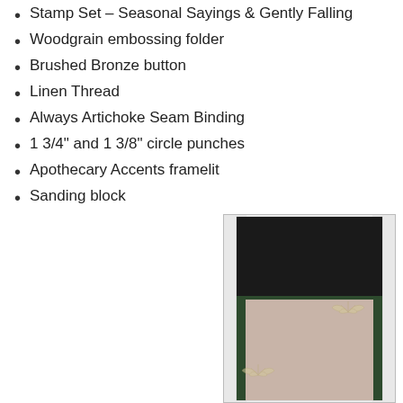Stamp Set – Seasonal Sayings & Gently Falling
Woodgrain embossing folder
Brushed Bronze button
Linen Thread
Always Artichoke Seam Binding
1 3/4" and 1 3/8" circle punches
Apothecary Accents framelit
Sanding block
[Figure (photo): A handmade card or book cover with dark green/black cardstock showing a folded design. The lower portion reveals a pinkish/tan textured panel with stamped leaf/botanical motifs in a lighter color, bordered by dark green ribbon or binding strips.]